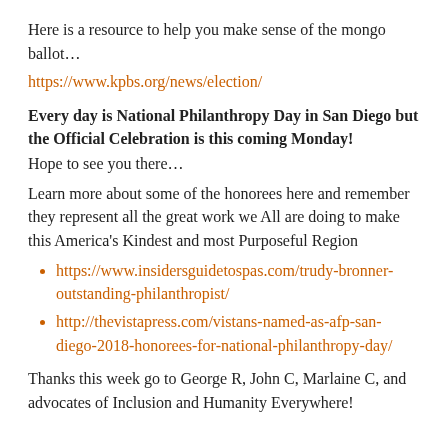Here is a resource to help you make sense of the mongo ballot…
https://www.kpbs.org/news/election/
Every day is National Philanthropy Day in San Diego but the Official Celebration is this coming Monday!
Hope to see you there…
Learn more about some of the honorees here and remember they represent all the great work we All are doing to make this America's Kindest and most Purposeful Region
https://www.insidersguidetospas.com/trudy-bronner-outstanding-philanthropist/
http://thevistapress.com/vistans-named-as-afp-san-diego-2018-honorees-for-national-philanthropy-day/
Thanks this week go to George R, John C, Marlaine C, and advocates of Inclusion and Humanity Everywhere!